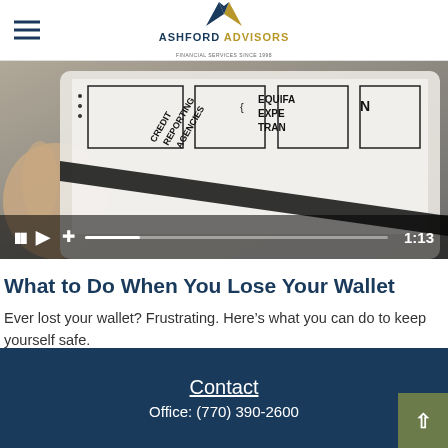Ashford Advisors — Financial Services Since 1998
[Figure (screenshot): Video player showing a hand holding a tablet with hand-drawn credit reporting diagram. Text visible: CREDIT REPORTING AGENCIES, EQUIFA, EXPE, TRAN. Video controls show pause, play, volume icons, progress bar, and timestamp 1:13.]
What to Do When You Lose Your Wallet
Ever lost your wallet? Frustrating. Here's what you can do to keep yourself safe.
Contact
Office: (770) 390-2600